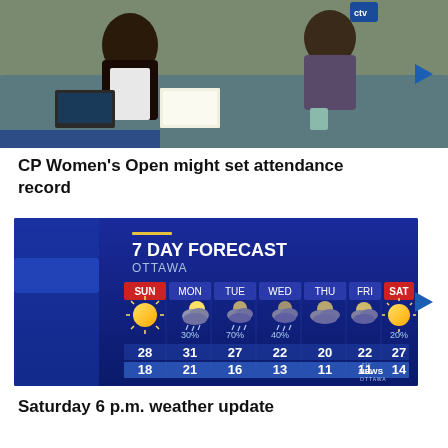[Figure (screenshot): Video thumbnail showing two people sitting at a desk in a TV studio setting]
CP Women's Open might set attendance record
[Figure (screenshot): CTV News Ottawa 7 Day Forecast weather graphic showing Ottawa weather for SUN through SAT. SUN: 28/18, MON: 31/21 30%, TUE: 27/16 70%, WED: 22/13 40%, THU: 20/11, FRI: 22/11, SAT: 27/14 20%]
Saturday 6 p.m. weather update